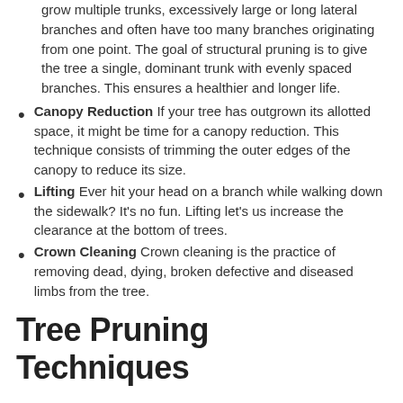grow multiple trunks, excessively large or long lateral branches and often have too many branches originating from one point. The goal of structural pruning is to give the tree a single, dominant trunk with evenly spaced branches. This ensures a healthier and longer life.
Canopy Reduction If your tree has outgrown its allotted space, it might be time for a canopy reduction. This technique consists of trimming the outer edges of the canopy to reduce its size.
Lifting Ever hit your head on a branch while walking down the sidewalk? It’s no fun. Lifting let’s us increase the clearance at the bottom of trees.
Crown Cleaning Crown cleaning is the practice of removing dead, dying, broken defective and diseased limbs from the tree.
Tree Pruning Techniques